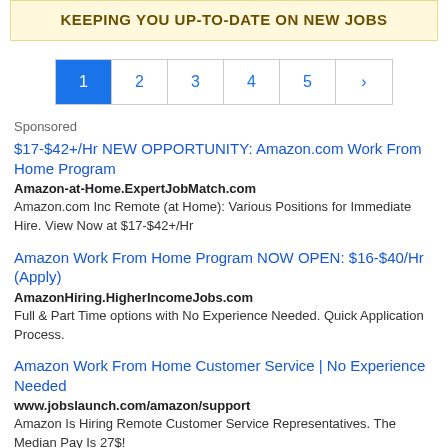KEEPING YOU UP-TO-DATE ON NEW JOBS
[Figure (other): Pagination bar with buttons 1 (active/blue), 2, 3, 4, 5, >]
Sponsored
$17-$42+/Hr NEW OPPORTUNITY: Amazon.com Work From Home Program
Amazon-at-Home.ExpertJobMatch.com
Amazon.com Inc Remote (at Home): Various Positions for Immediate Hire. View Now at $17-$42+/Hr
Amazon Work From Home Program NOW OPEN: $16-$40/Hr (Apply)
AmazonHiring.HigherIncomeJobs.com
Full & Part Time options with No Experience Needed. Quick Application Process.
Amazon Work From Home Customer Service | No Experience Needed
www.jobslaunch.com/amazon/support
Amazon Is Hiring Remote Customer Service Representatives. The Median Pay Is 27$!
$15.15 - $38.90/Hour - Working At Home (Beginners Preferred)